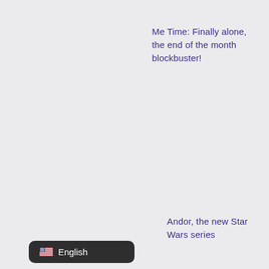Me Time: Finally alone, the end of the month blockbuster!
Andor, the new Star Wars series
[Figure (other): Language selector badge showing US flag emoji and 'English' label on dark rounded rectangle background]